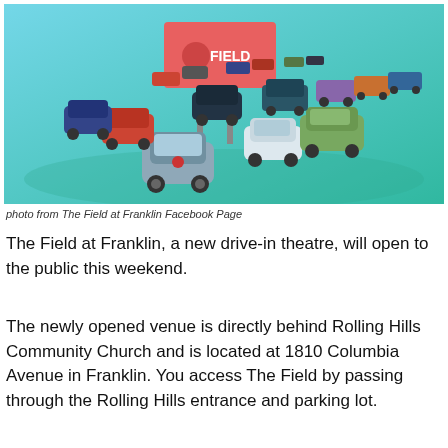[Figure (illustration): 3D illustrated rendering of a drive-in theatre scene with multiple colourful cars arranged in rows facing a large red billboard sign reading 'THE FIELD', set against a teal/turquoise sky background.]
photo from The Field at Franklin Facebook Page
The Field at Franklin, a new drive-in theatre, will open to the public this weekend.
The newly opened venue is directly behind Rolling Hills Community Church and is located at 1810 Columbia Avenue in Franklin. You access The Field by passing through the Rolling Hills entrance and parking lot.